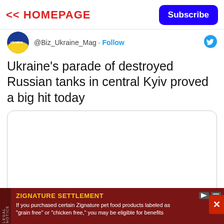<< HOMEPAGE
Subscribe
@Biz_Ukraine_Mag · Follow
Ukraine's parade of destroyed Russian tanks in central Kyiv proved a big hit today
[Figure (other): Embedded tweet image placeholder (empty white box with rounded border)]
LEGAL NOTICE ZIGNATURE SETTLEMENT If you purchased certain Zignature pet food products labeled as "grain free" or "chicken free," you may be eligible for benefits